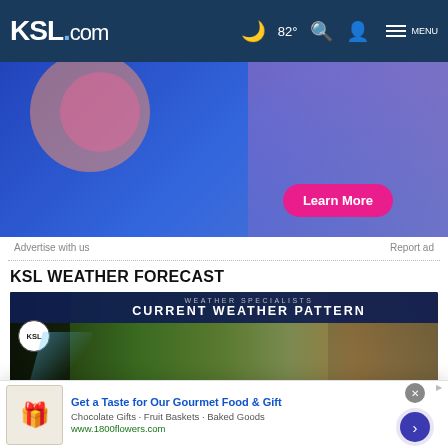KSL.com  82°  Search  Account  MENU
[Figure (screenshot): Blue advertisement banner with 'Learn More' pink button and illustrated figure]
Advertise with us    Report ad
KSL WEATHER FORECAST
[Figure (screenshot): KSL Weather Specialists - Current Weather Pattern video thumbnail with meteorologist]
Cookie Notice
We use cookies to improve your experience, analyze site traffic, and to personalize content and ads. By continuing to use our site, you consent to our use of cookies. Please visit our Terms of Use and  Privacy Policy for more information
[Figure (screenshot): Bottom advertisement: Get a Taste for Our Gourmet Food & Gift - Chocolate Gifts - Fruit Baskets - Baked Goods - www.1800flowers.com]